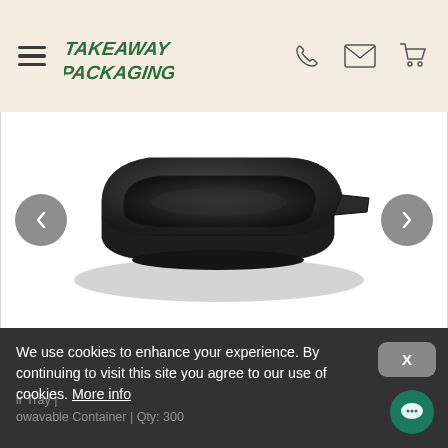[Figure (logo): Takeaway Packaging company logo in green italic text with hamburger menu, phone, email, and cart icons in header]
[Figure (photo): Black rectangular food tray / microwavable container with rounded corners and a small tab on the right side, viewed from a slightly elevated angle on white background]
We use cookies to enhance your experience. By continuing to visit this site you agree to our use of cookies. More info
ir Tray | owavable Container | Qty: 300